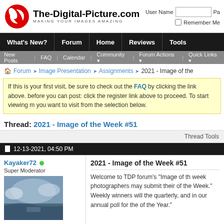The-Digital-Picture.com — MAKING YOUR IMAGES AMAZING
Navigation: What's New? | Forum | Home | Reviews | Tools
New Posts  FAQ  Calendar  Community  Forum Actions  Quick Links
Forum › Image Presentation › Assignments › 2021 - Image of the
If this is your first visit, be sure to check out the FAQ by clicking the link above. before you can post: click the register link above to proceed. To start viewing m you want to visit from the selection below.
Thread: 2021 - Image of the Week #51
Thread Tools
12-13-2021, 04:50 PM
Kayaker72 — Super Moderator
2021 - Image of the Week #51
Welcome to TDP forum's "Image of th week photographers may submit their of the Week." Weekly winners will the quarterly, and in our annual poll for the of the Year."